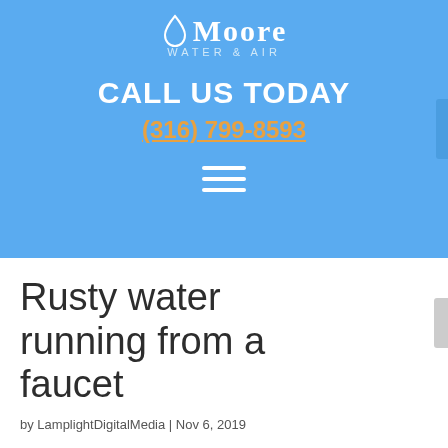[Figure (logo): Moore Water & Air logo with water drop icon, white text on blue background]
CALL US TODAY
(316) 799-8593
[Figure (illustration): Hamburger menu icon (three horizontal white lines)]
Rusty water running from a faucet
by LamplightDigitalMedia | Nov 6, 2019